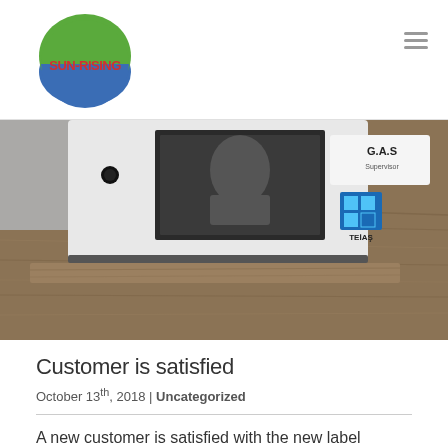Sun-Rising logo and navigation
[Figure (photo): Close-up photograph of a G.A.S Supervisor device with TEIAS branding placed on a wooden surface]
Customer is satisfied
October 13th, 2018 | Uncategorized
A new customer is satisfied with the new label samples, and send his assembling picture.